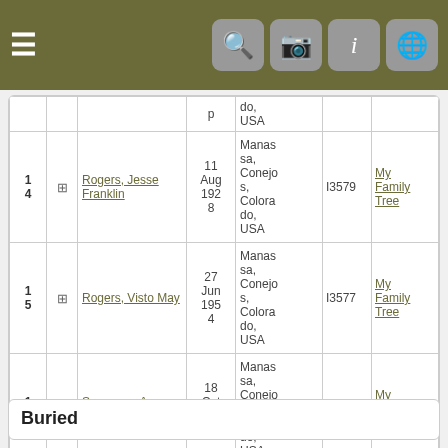Navigation bar with menu and icons
| # |  | Name | Date | Place | ID | Source |
| --- | --- | --- | --- | --- | --- | --- |
|  |  |  |  | do, USA |  |  |
| 14 | ⊕ | Rogers, Jesse Franklin | 11 Aug 1928 | Manassa, Conejos, Colorado, USA | I3579 | My Family Tree |
| 15 | ⊕ | Rogers, Visto May | 27 Jun 1954 | Manassa, Conejos, Colorado, USA | I3577 | My Family Tree |
| 16 | ⊕ | Sorensen, Ane Margarethe | 18 Oct 1922 | Manassa, Conejos, Colorado, USA | I3589 | My Family Tree |
Buried